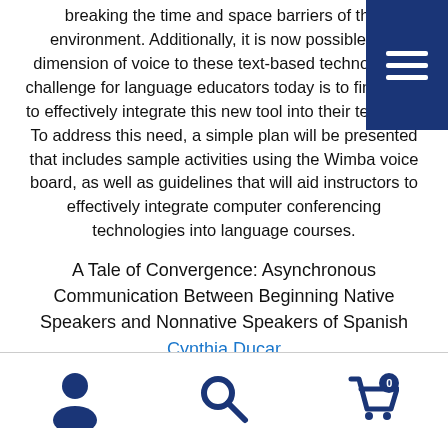breaking the time and space barriers of that environment. Additionally, it is now possible to add a dimension of voice to these text-based technologies. The challenge for language educators today is to find ways to effectively integrate this new tool into their teaching. To address this need, a simple plan will be presented that includes sample activities using the Wimba voice board, as well as guidelines that will aid instructors to effectively integrate computer conferencing technologies into language courses.
A Tale of Convergence: Asynchronous Communication Between Beginning Native Speakers and Nonnative Speakers of Spanish
Cynthia Ducar